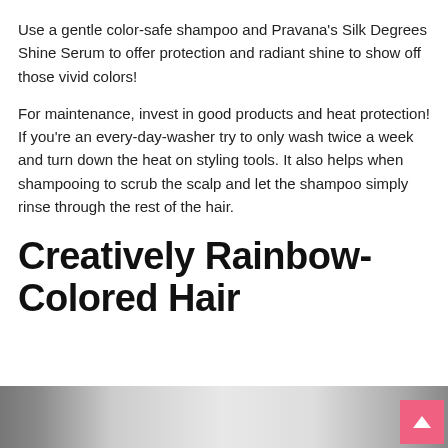Use a gentle color-safe shampoo and Pravana’s Silk Degrees Shine Serum to offer protection and radiant shine to show off those vivid colors!
For maintenance, invest in good products and heat protection! If you’re an every-day-washer try to only wash twice a week and turn down the heat on styling tools. It also helps when shampooing to scrub the scalp and let the shampoo simply rinse through the rest of the hair.
Creatively Rainbow-Colored Hair
[Figure (photo): Photo of a person with rainbow-colored hair, partially visible at the bottom of the page]